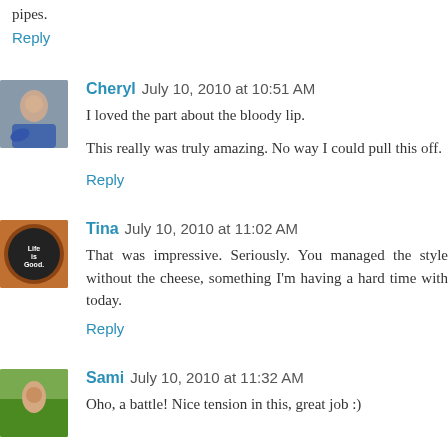pipes.
Reply
Cheryl July 10, 2010 at 10:51 AM
I loved the part about the bloody lip.
This really was truly amazing. No way I could pull this off.
Reply
Tina July 10, 2010 at 11:02 AM
That was impressive. Seriously. You managed the style without the cheese, something I'm having a hard time with today.
Reply
Sami July 10, 2010 at 11:32 AM
Oho, a battle! Nice tension in this, great job :)